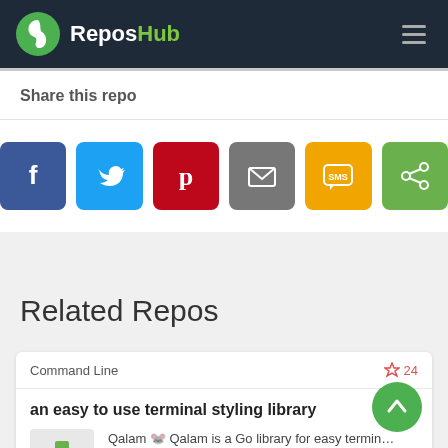ReposHub
Share this repo
[Figure (infographic): Row of six social sharing buttons: Facebook (blue, f), Twitter (light blue, bird), Pinterest (red, p), Email (grey, envelope), SMS (yellow, SMS), Share (green, share icon)]
Related Repos
Command Line  ☆ 24
an easy to use terminal styling library
Qalam 🐭 Qalam is a Go library for easy terminal styling. Installation go get